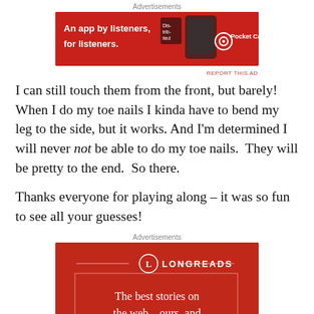[Figure (photo): Pocket Casts advertisement banner: red background with text 'An app by listeners, for listeners.' and Pocket Casts logo]
REPORT THIS AD
I can still touch them from the front, but barely!  When I do my toe nails I kinda have to bend my leg to the side, but it works. And I'm determined I will never not be able to do my toe nails.  They will be pretty to the end.  So there.
Thanks everyone for playing along – it was so fun to see all your guesses!
[Figure (photo): Longreads advertisement: red background with Longreads logo and text 'The best stories on the web – ours, and everyone else's.']